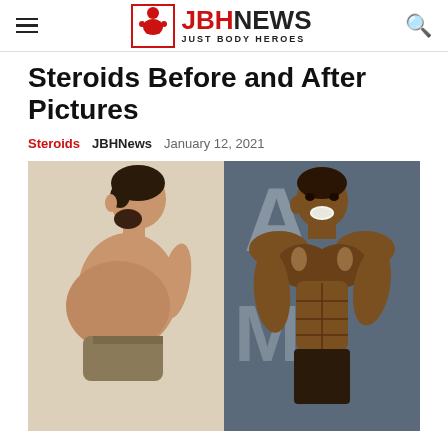JBH NEWS - JUST BODY HEROES
Steroids Before and After Pictures
Steroids   JBHNews   January 12, 2021
[Figure (photo): Before and after photos side by side: left shows a man with belly fat in side profile, right shows a muscular bodybuilder on stage]